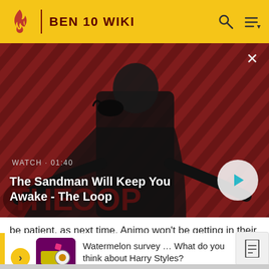BEN 10 WIKI
[Figure (screenshot): Video thumbnail for 'The Sandman Will Keep You Awake - The Loop' showing a dark-cloaked figure with a raven against a striped red/dark background. Shows WATCH • 01:40 label and a play button.]
be patient, as next time, Animo won't be getting in their way.
Watermelon survey … What do you think about Harry Styles? TAKE THE SURVEY HERE